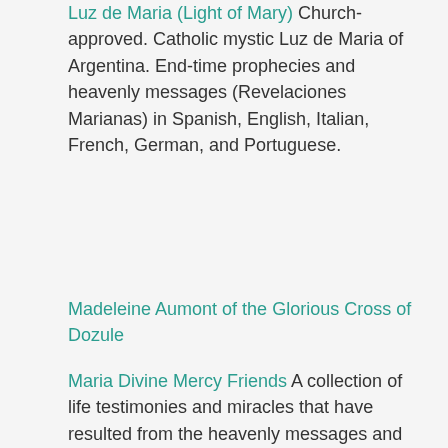Luz de Maria (Light of Mary) Church-approved. Catholic mystic Luz de Maria of Argentina. End-time prophecies and heavenly messages (Revelaciones Marianas) in Spanish, English, Italian, French, German, and Portuguese.
Madeleine Aumont of the Glorious Cross of Dozule
Maria Divine Mercy Friends A collection of life testimonies and miracles that have resulted from the heavenly messages and prayers, including the Seal of The Living God, from the Book of Truth given to End-Times Prophet, Maria Divine Mercy.
[Figure (photo): A photograph of a person with light hair, head slightly bowed or looking down.]
Mary Protectress Of The Faith Holy Love